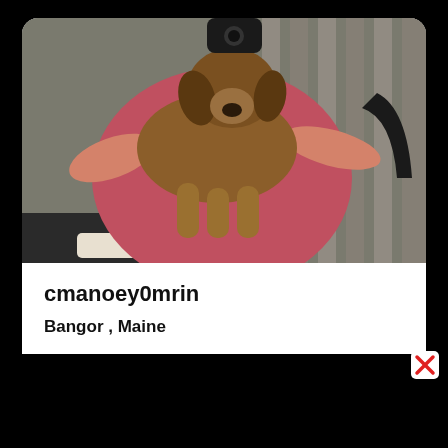[Figure (photo): Person in red/pink shirt holding a puppy/dog, seated outdoors near a wooden fence, with a black chair visible]
cmanoey0mrin
Bangor , Maine
Age 43   Online
[Figure (photo): Partial view of dark knitted/lace hat or fabric item on a light background]
[Figure (other): Red X close button]